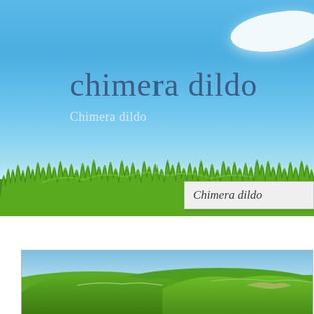[Figure (photo): Top banner with blue sky, white cloud in top-right corner, bright green grass along the bottom portion, text overlay with 'chimera dildo' title and subtitle]
chimera dildo
Chimera dildo
Chimera dildo
[Figure (photo): Bottom landscape photo showing green rolling hills under a blue sky]